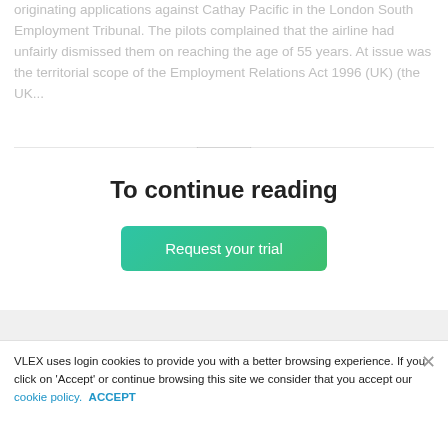originating applications against Cathay Pacific in the London South Employment Tribunal. The pilots complained that the airline had unfairly dismissed them on reaching the age of 55 years. At issue was the territorial scope of the Employment Relations Act 1996 (UK) (the UK...
To continue reading
Request your trial
[Figure (logo): vlex logo in white on dark background]
VLEX uses login cookies to provide you with a better browsing experience. If you click on 'Accept' or continue browsing this site we consider that you accept our cookie policy. ACCEPT